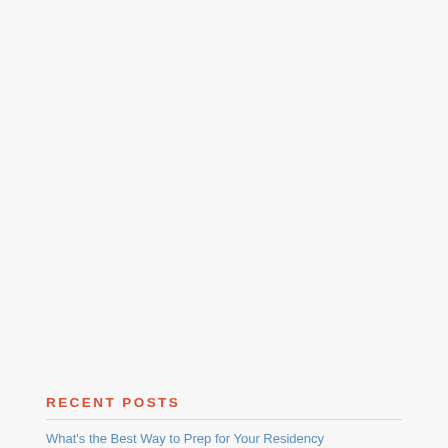RECENT POSTS
What's the Best Way to Prep for Your Residency